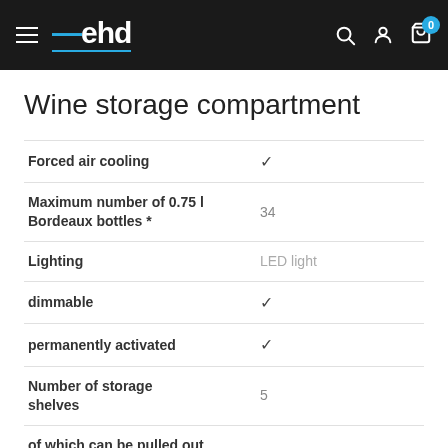ehd — navigation header with search, account, and cart icons
Wine storage compartment
| Feature | Value |
| --- | --- |
| Forced air cooling | ✓ |
| Maximum number of 0.75 l Bordeaux bottles * | 34 |
| Lighting | LED light |
| dimmable | ✓ |
| permanently activated | ✓ |
| Number of storage shelves | 5 |
| of which can be pulled out |  |